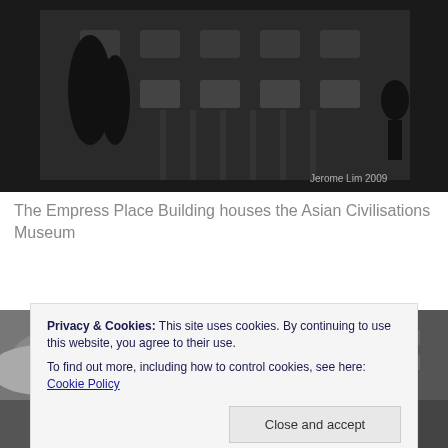[Figure (photo): Black and white photo of the Empress Place Building facade with trees and a figure on the right, watermark 'Jerome Lim 2009' in bottom right]
The Empress Place Building houses the Asian Civilisations Museum
[Figure (photo): Black and white photo showing an upward angle view of a classical building facade against a cloudy sky]
Privacy & Cookies: This site uses cookies. By continuing to use this website, you agree to their use.
To find out more, including how to control cookies, see here: Cookie Policy
Close and accept